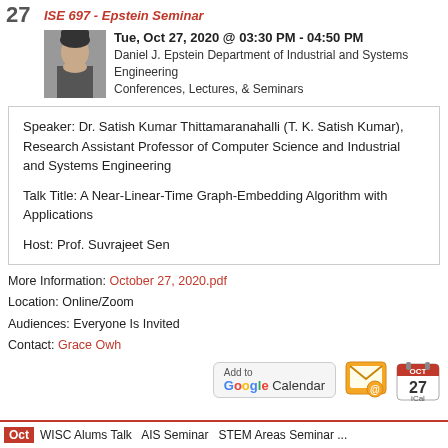27  ISE 697 - Epstein Seminar
[Figure (photo): Headshot photo of the speaker Dr. Satish Kumar Thittamaranahalli]
Tue, Oct 27, 2020 @ 03:30 PM - 04:50 PM
Daniel J. Epstein Department of Industrial and Systems Engineering
Conferences, Lectures, & Seminars
Speaker: Dr. Satish Kumar Thittamaranahalli (T. K. Satish Kumar), Research Assistant Professor of Computer Science and Industrial and Systems Engineering

Talk Title: A Near-Linear-Time Graph-Embedding Algorithm with Applications

Host: Prof. Suvrajeet Sen
More Information: October 27, 2020.pdf
Location: Online/Zoom
Audiences: Everyone Is Invited
Contact: Grace Owh
[Figure (other): Add to Google Calendar button, email reminder button, and iCal button]
Oct  WISC Alums Talk AIS Seminar STEM Areas Seminar ...